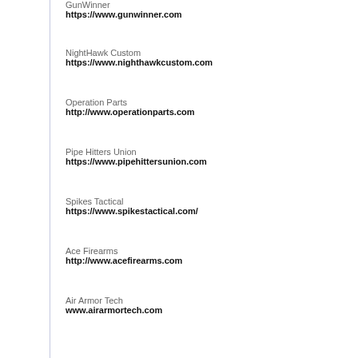GunWinner
https://www.gunwinner.com
NightHawk Custom
https://www.nighthawkcustom.com
Operation Parts
http://www.operationparts.com
Pipe Hitters Union
https://www.pipehittersunion.com
Spikes Tactical
https://www.spikestactical.com/
Ace Firearms
http://www.acefirearms.com
Air Armor Tech
www.airarmortech.com